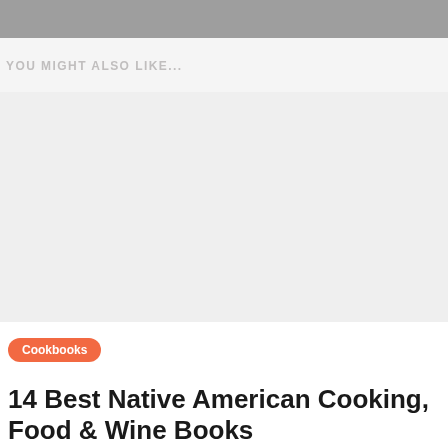YOU MIGHT ALSO LIKE...
[Figure (photo): Light grey image placeholder area]
Cookbooks
14 Best Native American Cooking, Food & Wine Books